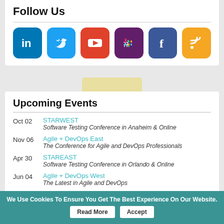Follow Us
[Figure (infographic): Six social media icons: LinkedIn (blue), Twitter (light blue), YouTube (red), Slack (purple), Facebook (dark blue), RSS (orange)]
Upcoming Events
Oct 02 — STARWEST — Software Testing Conference in Anaheim & Online
Nov 06 — Agile + DevOps East — The Conference for Agile and DevOps Professionals
Apr 30 — STAREAST — Software Testing Conference in Orlando & Online
Jun 04 — Agile + DevOps West — The Latest in Agile and DevOps
Recommended Web Seminars
We Use Cookies To Ensure You Get The Best Experience On Our Website. Read More Accept